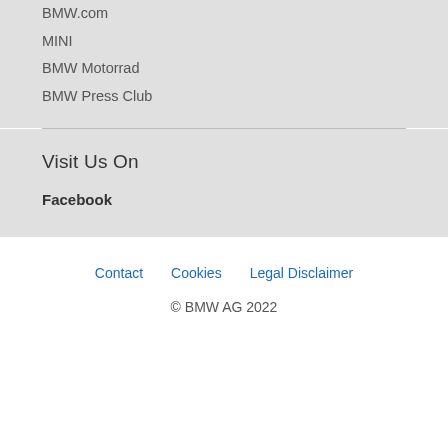BMW.com
MINI
BMW Motorrad
BMW Press Club
Visit Us On
Facebook
Contact   Cookies   Legal Disclaimer
© BMW AG 2022